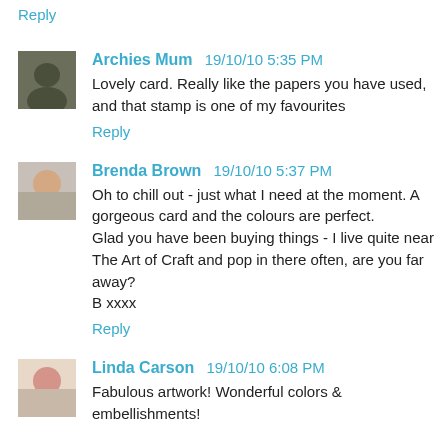Reply
Archies Mum 19/10/10 5:35 PM
Lovely card. Really like the papers you have used, and that stamp is one of my favourites
Reply
Brenda Brown 19/10/10 5:37 PM
Oh to chill out - just what I need at the moment. A gorgeous card and the colours are perfect.
Glad you have been buying things - I live quite near The Art of Craft and pop in there often, are you far away?
B xxxx
Reply
Linda Carson 19/10/10 6:08 PM
Fabulous artwork! Wonderful colors & embellishments!